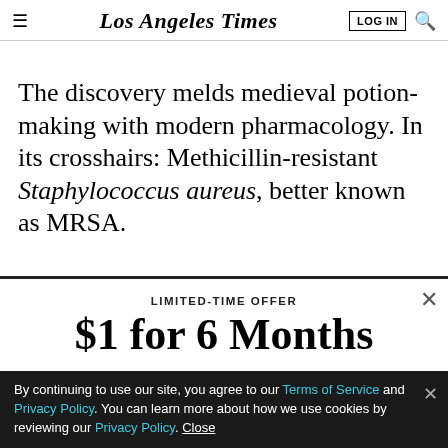Los Angeles Times
The discovery melds medieval potion-making with modern pharmacology. In its crosshairs: Methicillin-resistant Staphylococcus aureus, better known as MRSA.
LIMITED-TIME OFFER
$1 for 6 Months
SUBSCRIBE NOW
By continuing to use our site, you agree to our Terms of Service and Privacy Policy. You can learn more about how we use cookies by reviewing our Privacy Policy. Close